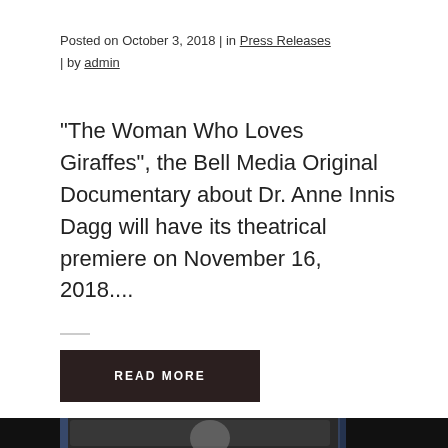Posted on October 3, 2018 | in Press Releases | by admin
"The Woman Who Loves Giraffes", the Bell Media Original Documentary about Dr. Anne Innis Dagg will have its theatrical premiere on November 16, 2018....
READ MORE
[Figure (photo): A person smiling, viewed through a car or vehicle window, with dark surroundings and chromatic aberration effects visible at the edges.]